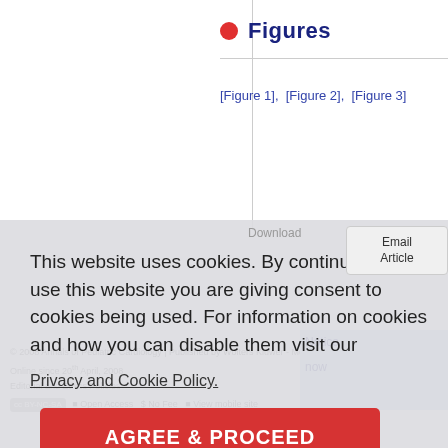Figures
[Figure 1],  [Figure 2],  [Figure 3]
This website uses cookies. By continuing to use this website you are giving consent to cookies being used. For information on cookies and how you can disable them visit our
Privacy and Cookie Policy.
AGREE & PROCEED
© 2008 Annals of Pediatric Cardiology | Published by Wolters Kluwer - Medknow
Online since 20th April, 2008
Editorial and Ethics Policies
Open Access   $ No Fee   View mobile site